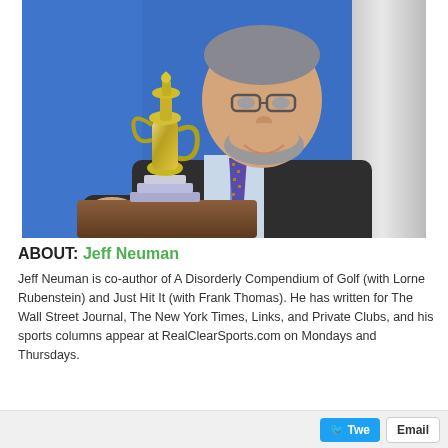[Figure (photo): A man in a dark suit and patterned tie sitting next to a silver golf trophy (claret jug style) against a blue background, with part of a white decorative column visible on the right.]
ABOUT: Jeff Neuman
Jeff Neuman is co-author of A Disorderly Compendium of Golf (with Lorne Rubenstein) and Just Hit It (with Frank Thomas). He has written for The Wall Street Journal, The New York Times, Links, and Private Clubs, and his sports columns appear at RealClearSports.com on Mondays and Thursdays.
Tweet | Email